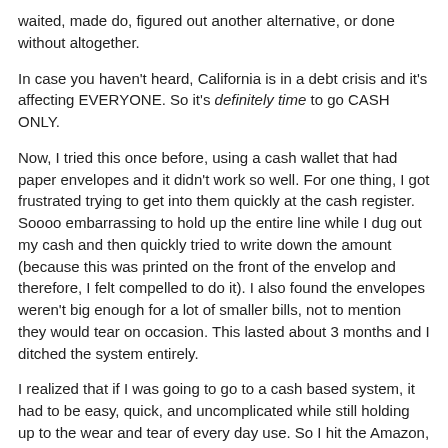waited, made do, figured out another alternative, or done without altogether.
In case you haven't heard, California is in a debt crisis and it's affecting EVERYONE. So it's definitely time to go CASH ONLY.
Now, I tried this once before, using a cash wallet that had paper envelopes and it didn't work so well. For one thing, I got frustrated trying to get into them quickly at the cash register. Soooo embarrassing to hold up the entire line while I dug out my cash and then quickly tried to write down the amount (because this was printed on the front of the envelop and therefore, I felt compelled to do it). I also found the envelopes weren't big enough for a lot of smaller bills, not to mention they would tear on occasion. This lasted about 3 months and I ditched the system entirely.
I realized that if I was going to go to a cash based system, it had to be easy, quick, and uncomplicated while still holding up to the wear and tear of every day use. So I hit the Amazon, eBay, Etsy stores... anywhere I could find cash